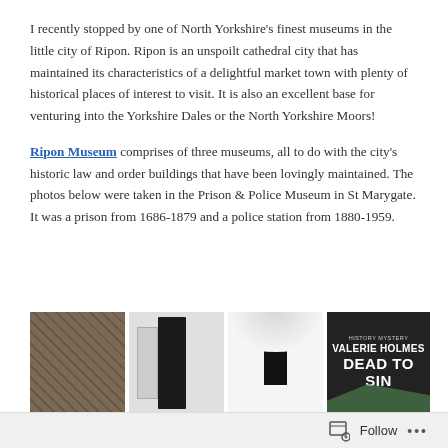I recently stopped by one of North Yorkshire's finest museums in the little city of Ripon. Ripon is an unspoilt cathedral city that has maintained its characteristics of a delightful market town with plenty of historical places of interest to visit. It is also an excellent base for venturing into the Yorkshire Dales or the North Yorkshire Moors!
Ripon Museum comprises of three museums, all to do with the city's historic law and order buildings that have been lovingly maintained. The photos below were taken in the Prison & Police Museum in St Marygate. It was a prison from 1686-1879 and a police station from 1880-1959.
[Figure (photo): Four photos in a row: a brownish textured wall/objects, a dark door on a white wall with another door visible, a white arched room with a dark door, and a book cover reading 'VALERIE HOLMES DEAD TO SIN']
Follow ...